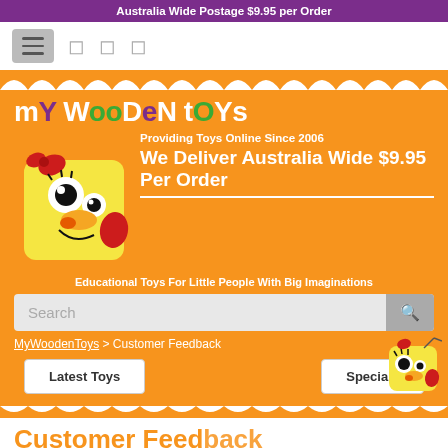Australia Wide Postage $9.95 per Order
[Figure (screenshot): Navigation bar with hamburger menu and social/cart icons]
[Figure (logo): mY WooDen tOYs logo on orange background with mascot character, Providing Toys Online Since 2006, We Deliver Australia Wide $9.95 Per Order, Educational Toys For Little People With Big Imaginations]
Search
MyWoodenToys > Customer Feedback
Latest Toys
Specials
Customer Feedback